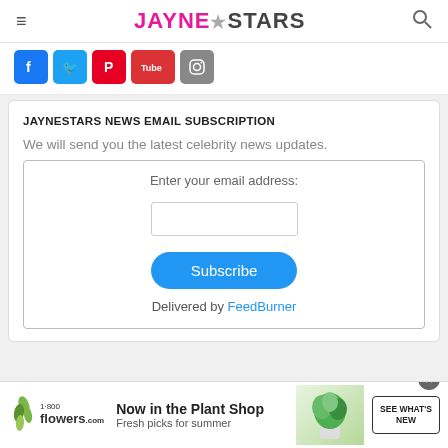≡  JAYNE★STARS  🔍
[Figure (screenshot): Social media icons: Facebook, Twitter, Pinterest, YouTube, Email/Instagram]
JAYNESTARS NEWS EMAIL SUBSCRIPTION
We will send you the latest celebrity news updates.
Enter your email address:
Subscribe
Delivered by FeedBurner
[Figure (infographic): 1800flowers.com advertisement: Now in the Plant Shop. Fresh picks for summer. SEE WHAT'S NEW button with plant photo.]